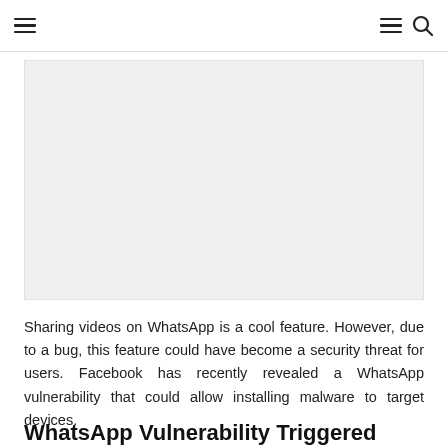≡   ≡ 🔍
[Figure (other): Light gray rectangular advertisement or image placeholder area]
Sharing videos on WhatsApp is a cool feature. However, due to a bug, this feature could have become a security threat for users. Facebook has recently revealed a WhatsApp vulnerability that could allow installing malware to target devices.
WhatsApp Vulnerability Triggered